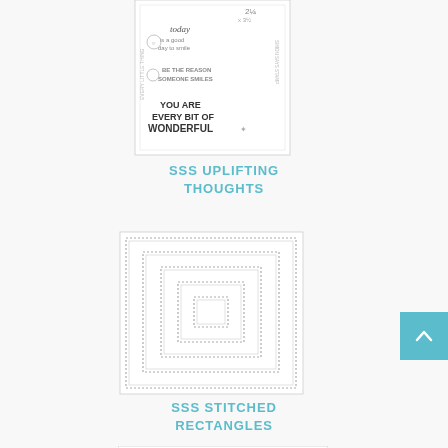[Figure (photo): Product image of SSS Uplifting Thoughts stamp set showing various text stamps including 'today is a good day to smile', 'BE THE REASON SOMEONE SMILES', 'YOU ARE EVERY BIT OF WONDERFUL']
SSS UPLIFTING THOUGHTS
[Figure (illustration): Product image of SSS Stitched Rectangles die set showing 5 nested stitched rectangle dies decreasing in size from outer to inner]
SSS STITCHED RECTANGLES
[Figure (photo): Partial product image of a stamp or die set featuring scattered dot/circle pattern across the bottom of the page]